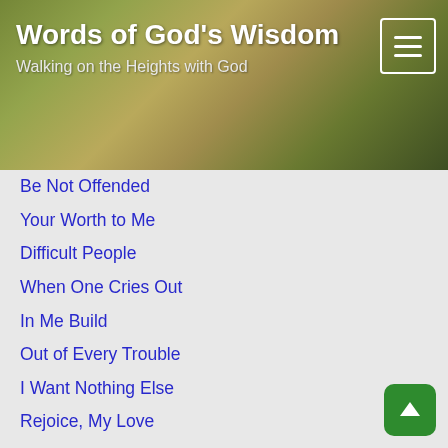Words of God's Wisdom
Walking on the Heights with God
Be Not Offended
Your Worth to Me
Difficult People
When One Cries Out
In Me Build
Out of Every Trouble
I Want Nothing Else
Rejoice, My Love
Opportunity for Love
Grace and Call of God
Yes to His Call
The Lord is My Shepherd
The Astounding Gospel